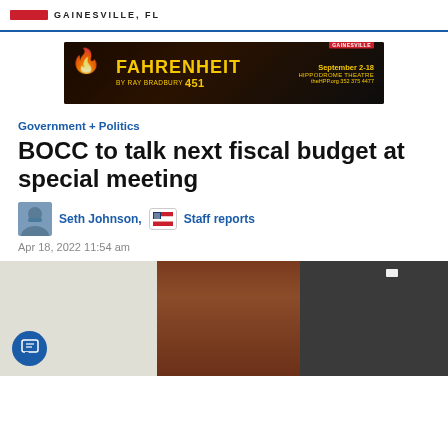GAINESVILLE, FL
[Figure (photo): Advertisement banner for Fahrenheit 451 play at Hippodrome Theatre, Gainesville. September 2–18. theHPP.org 352 375 4477. Dark background with fire imagery and golden text.]
Government + Politics
BOCC to talk next fiscal budget at special meeting
Seth Johnson, Staff reports
Apr 18, 2022 11:54 am
[Figure (photo): Interior photograph showing a light-colored wall on the left, wood-paneled columns or furniture in the center-right, and a dark gray wall on the far right. A small white rectangular object is mounted on the upper right wall.]